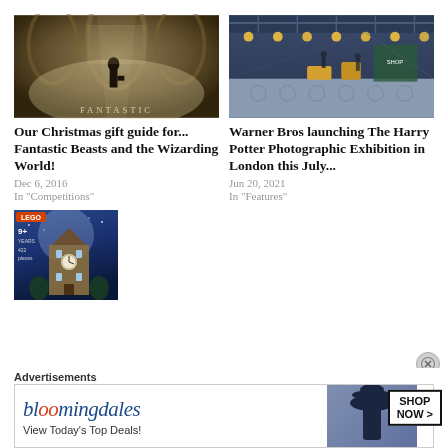[Figure (photo): Fantastic Beasts movie poster showing a figure in a misty grand station with text 'FANTASTIC' at the bottom]
Our Christmas gift guide for... Fantastic Beasts and the Wizarding World!
Dec 6, 2016
In "Competitions"
[Figure (illustration): Warner Bros Harry Potter Photographic Exhibition interior rendering showing gallery space with circular lights on ceiling]
Warner Bros launching The Harry Potter Photographic Exhibition in London this July...
Jun 20, 2021
In "Features"
[Figure (photo): LEGO Harry Potter Hogwarts Clock Tower set box art showing the tower against a blue night sky]
Advertisements
[Figure (screenshot): Bloomingdales advertisement banner: 'View Today's Top Deals!' with SHOP NOW button and woman in hat image]